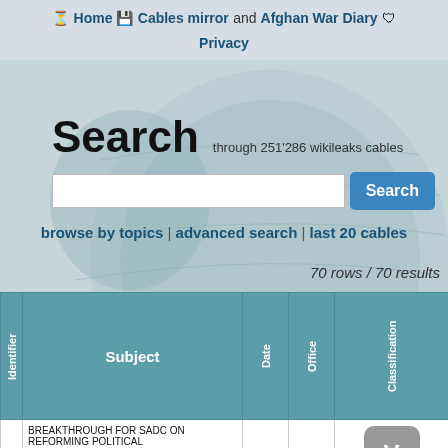Home  Cables mirror and Afghan War Diary  Privacy
Search  through 251'286 wikileaks cables
browse by topics | advanced search | last 20 cables
70 rows / 70 results
| Identifier | Subject | Date | Office | Classification |
| --- | --- | --- | --- | --- |
| 55 | BREAKTHROUGH FOR SADC ON REFORMING POLITICAL [...] (C) SADC FOREIGN AND DEFENSE MINISTERS HAVE |  |  | V |